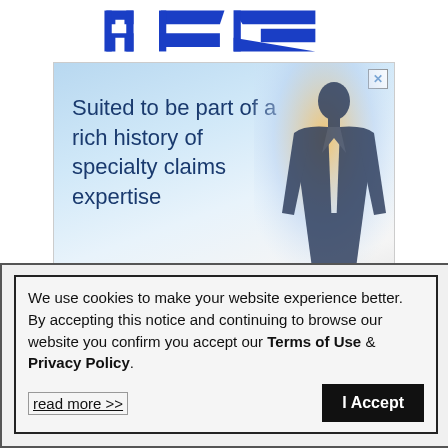[Figure (logo): Blue stylized logo/monogram at top of page]
[Figure (photo): Advertisement banner: man in suit silhouette against city skyline with text 'Suited to be part of a rich history of specialty claims expertise' and Maltman brand logo at bottom]
We use cookies to make your website experience better. By accepting this notice and continuing to browse our website you confirm you accept our Terms of Use & Privacy Policy.
read more >>
I Accept